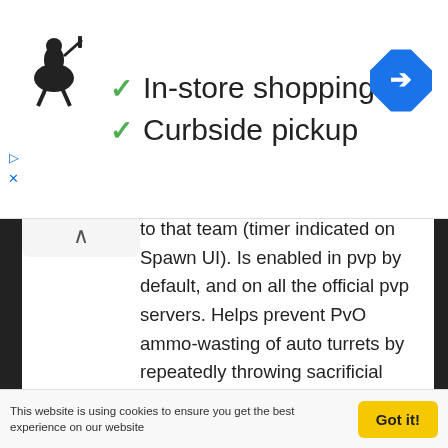[Figure (screenshot): Ad banner with Ralph Lauren polo logo, two green checkmarks for 'In-store shopping' and 'Curbside pickup', and a blue navigation arrow icon on the right]
to that team (timer indicated on Spawn UI). Is enabled in pvp by default, and on all the official pvp servers. Helps prevent PvO ammo-wasting of auto turrets by repeatedly throwing sacrificial players at them.
Improved server perf, and fixed some server crash cases
Admin-Only-Access doors (and their doorframes) can no longer be demolished or Replaced by non-Admin tribe members regardless of Governance settings
Server INI's option to switch from PvE to PvP mode at pre-specified in-game times OR a pre-
This website is using cookies to ensure you get the best experience on our website